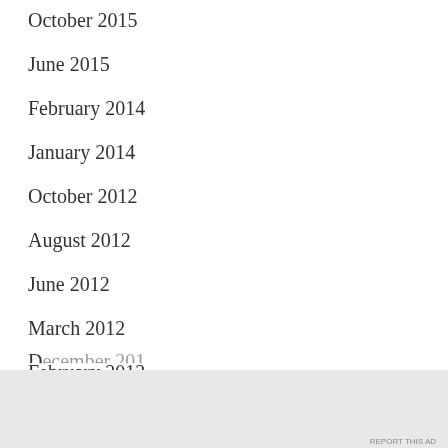October 2015
June 2015
February 2014
January 2014
October 2012
August 2012
June 2012
March 2012
February 2012
January 2012
Advertisements
[Figure (infographic): Advertisement banner: dark background with circular icon, text 'Turn your blog into a money-making online course.' in teal, and a right arrow button]